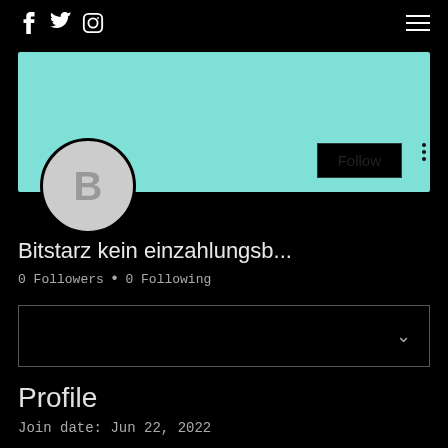f  Twitter  Instagram  [hamburger menu]
[Figure (photo): Teal/turquoise cover photo banner]
[Figure (illustration): Circular avatar placeholder with letter B]
Follow
Bitstarz kein einzahlungsb...
0 Followers • 0 Following
[dropdown box with chevron]
Profile
Join date: Jun 22, 2022
About